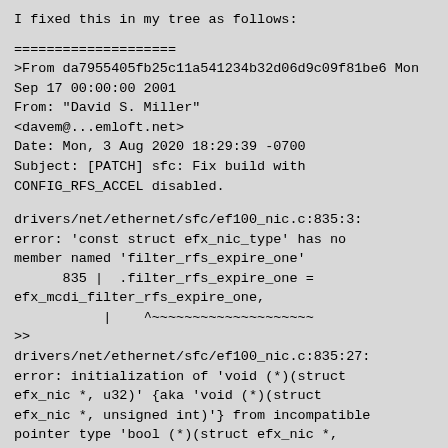I fixed this in my tree as follows:
====================
>From da7955405fb25c11a541234b32d06d9c09f81be6 Mon Sep 17 00:00:00 2001
From: "David S. Miller" <davem@...emloft.net>
Date: Mon, 3 Aug 2020 18:29:39 -0700
Subject: [PATCH] sfc: Fix build with CONFIG_RFS_ACCEL disabled.
drivers/net/ethernet/sfc/ef100_nic.c:835:3:
error: 'const struct efx_nic_type' has no member named 'filter_rfs_expire_one'
      835 |  .filter_rfs_expire_one =
efx_mcdi_filter_rfs_expire_one,
           |    ^~~~~~~~~~~~~~~~~~~~~
>>
drivers/net/ethernet/sfc/ef100_nic.c:835:27:
error: initialization of 'void (*)(struct efx_nic *, u32)' {aka 'void (*)(struct efx_nic *, unsigned int)'} from incompatible pointer type 'bool (*)(struct efx_nic *,